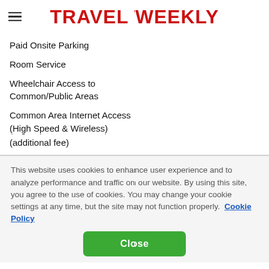TRAVEL WEEKLY
Paid Onsite Parking
Room Service
Wheelchair Access to Common/Public Areas
Common Area Internet Access (High Speed & Wireless) (additional fee)
This website uses cookies to enhance user experience and to analyze performance and traffic on our website. By using this site, you agree to the use of cookies. You may change your cookie settings at any time, but the site may not function properly.  Cookie Policy
Close